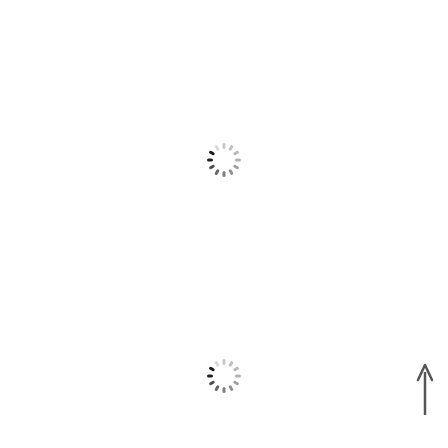[Figure (other): A loading spinner icon (circular dashed ring) positioned in upper-center area of the page, with darker segments at roughly 9-10 o'clock position indicating partial load state.]
[Figure (other): A loading spinner icon (circular dashed ring) positioned in lower-center area of the page, with darker segments at roughly 9-10 o'clock position indicating partial load state.]
[Figure (other): An upward-pointing arrow icon positioned at the lower-right corner of the page.]